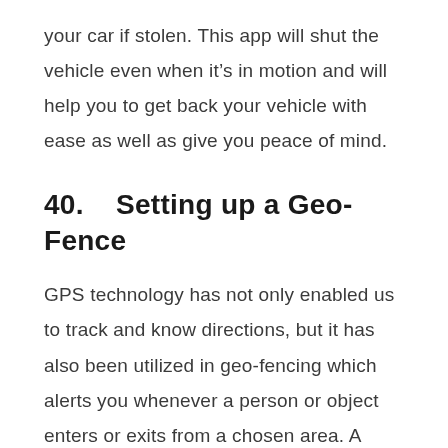your car if stolen. This app will shut the vehicle even when it's in motion and will help you to get back your vehicle with ease as well as give you peace of mind.
40.    Setting up a Geo-Fence
GPS technology has not only enabled us to track and know directions, but it has also been utilized in geo-fencing which alerts you whenever a person or object enters or exits from a chosen area. A Geo-fence is a virtual border that is set up within seconds and you are notified through text